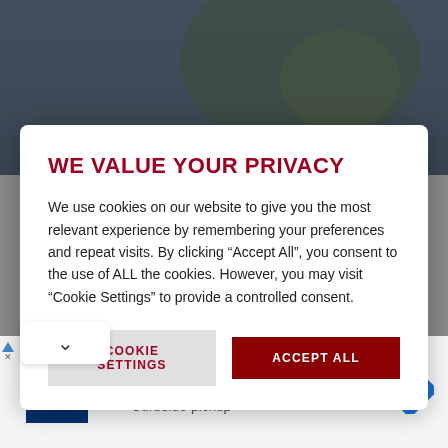[Figure (photo): Blurred background photo of a person (soccer player/referee) in a stadium setting]
WE VALUE YOUR PRIVACY
We use cookies on our website to give you the most relevant experience by remembering your preferences and repeat visits. By clicking “Accept All”, you consent to the use of ALL the cookies. However, you may visit “Cookie Settings” to provide a controlled consent.
COOKIE SETTINGS
ACCEPT ALL
[Figure (screenshot): Petco advertisement banner with logo, In-store shopping and Curbside pickup checkmarks, and a navigation arrow icon]